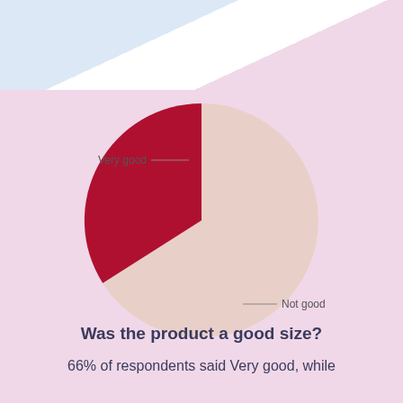[Figure (pie-chart): Was the product a good size?]
Was the product a good size?
66% of respondents said Very good, while